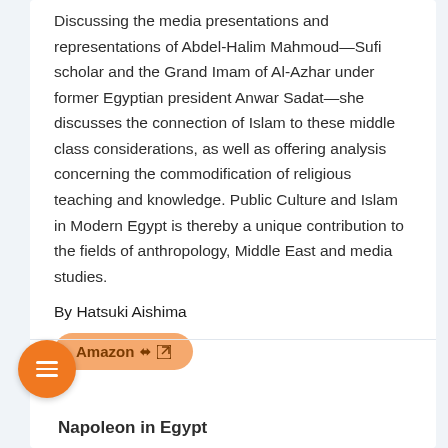Discussing the media presentations and representations of Abdel-Halim Mahmoud—Sufi scholar and the Grand Imam of Al-Azhar under former Egyptian president Anwar Sadat—she discusses the connection of Islam to these middle class considerations, as well as offering analysis concerning the commodification of religious teaching and knowledge. Public Culture and Islam in Modern Egypt is thereby a unique contribution to the fields of anthropology, Middle East and media studies.
By Hatsuki Aishima
Amazon
Napoleon in Egypt